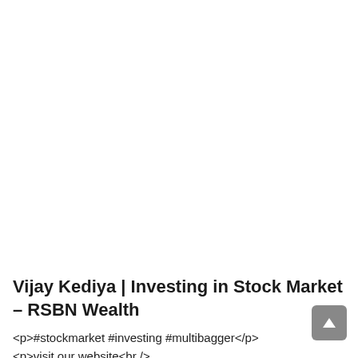Vijay Kediya | Investing in Stock Market – RSBN Wealth
<p>#stockmarket #investing #multibagger</p>
<p>visit our website<br />
www.rsbnwealth.com</p>